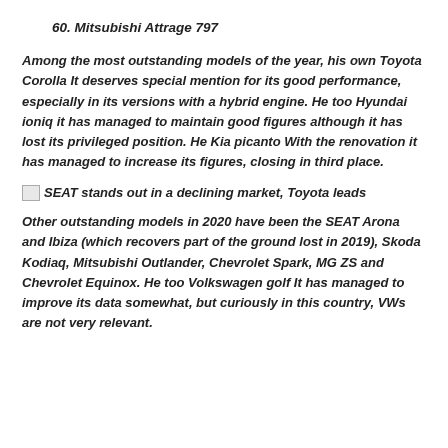60. Mitsubishi Attrage 797
Among the most outstanding models of the year, his own Toyota Corolla It deserves special mention for its good performance, especially in its versions with a hybrid engine. He too Hyundai ioniq it has managed to maintain good figures although it has lost its privileged position. He Kia picanto With the renovation it has managed to increase its figures, closing in third place.
SEAT stands out in a declining market, Toyota leads
Other outstanding models in 2020 have been the SEAT Arona and Ibiza (which recovers part of the ground lost in 2019), Skoda Kodiaq, Mitsubishi Outlander, Chevrolet Spark, MG ZS and Chevrolet Equinox. He too Volkswagen golf It has managed to improve its data somewhat, but curiously in this country, VWs are not very relevant.